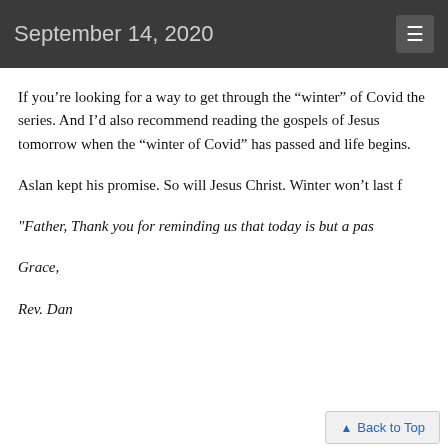September 14, 2020
If you’re looking for a way to get through the “winter” of Covid the series. And I’d also recommend reading the gospels of Jesus tomorrow when the “winter of Covid” has passed and life begins.
Aslan kept his promise. So will Jesus Christ. Winter won’t last f
"Father, Thank you for reminding us that today is but a pas
Grace,
Rev. Dan
Back to Top